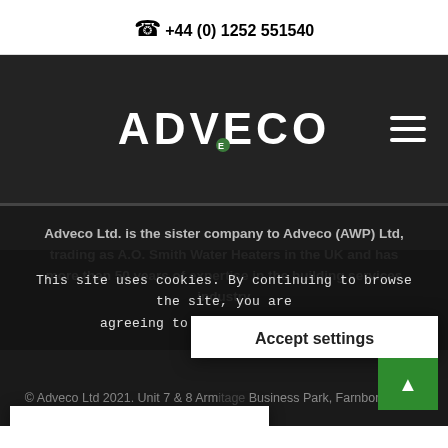+44 (0) 1252 551540
[Figure (logo): Adveco company logo in white text on dark background with hamburger menu icon]
Adveco Ltd. is the sister company to Adveco (AWP) Ltd, trading as A.O. Smith Water Heaters in the UK and has more than 50 years of expertise in the building services industry
This site uses cookies. By continuing to browse the site, you are agreeing to our use of cookies.
Accept settings
Hide notification only
© Adveco Ltd 2021. Unit 7 & 8 Arm Business Park, Farnborough,